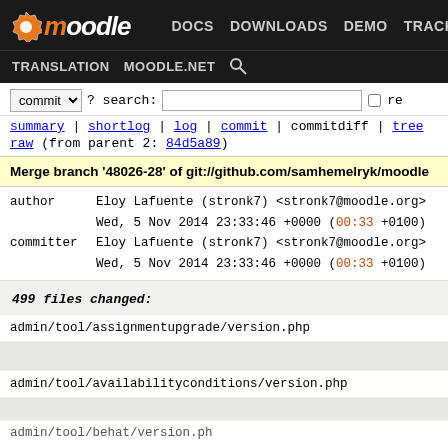moodle DOCS DOWNLOADS DEMO TRACKER DEV TRANSLATION MOODLE.NET
commit ? search: re
summary | shortlog | log | commit | commitdiff | tree
raw (from parent 2: 84d5a89)
Merge branch '48026-28' of git://github.com/samhemelryk/moodle
author    Eloy Lafuente (stronk7) <stronk7@moodle.org>
          Wed, 5 Nov 2014 23:33:46 +0000 (00:33 +0100)
committer Eloy Lafuente (stronk7) <stronk7@moodle.org>
          Wed, 5 Nov 2014 23:33:46 +0000 (00:33 +0100)
499 files changed:
admin/tool/assignmentupgrade/version.php
admin/tool/availabilityconditions/version.php
admin/tool/behat/version.php